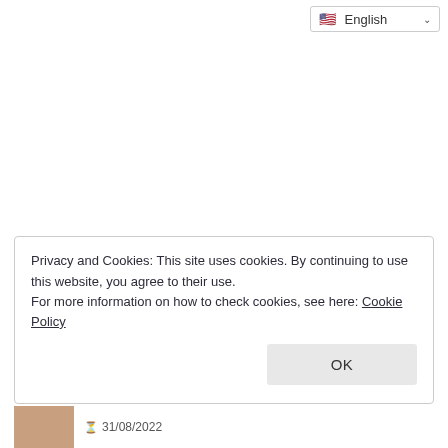[Figure (screenshot): Language selector dropdown showing English with US flag and chevron]
Privacy and Cookies: This site uses cookies. By continuing to use this website, you agree to their use.
For more information on how to check cookies, see here: Cookie Policy
OK
31/08/2022